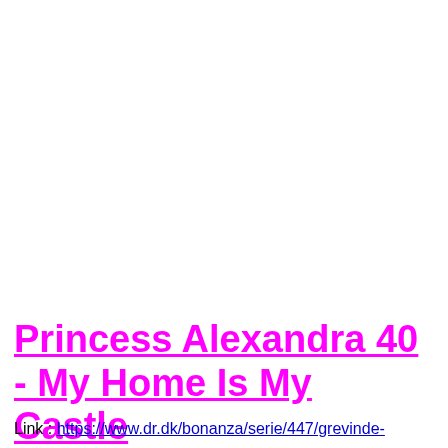Princess Alexandra 40  - My Home Is My Castle
Link : https://www.dr.dk/bonanza/serie/447/grevinde-